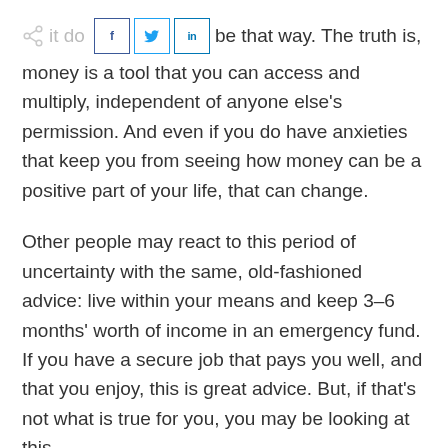it doesn't have to be that way. The truth is, money is a tool that you can access and multiply, independent of anyone else's permission. And even if you do have anxieties that keep you from seeing how money can be a positive part of your life, that can change.
Other people may react to this period of uncertainty with the same, old-fashioned advice: live within your means and keep 3–6 months' worth of income in an emergency fund. If you have a secure job that pays you well, and that you enjoy, this is great advice. But, if that's not what is true for you, you may be looking at this